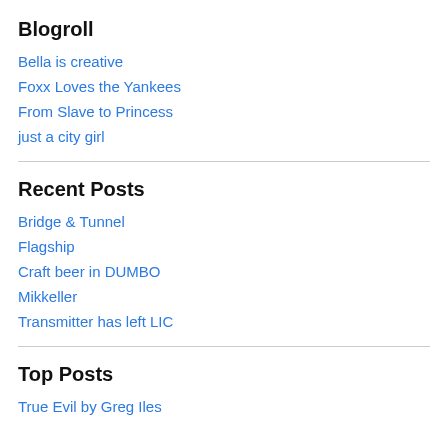Blogroll
Bella is creative
Foxx Loves the Yankees
From Slave to Princess
just a city girl
Recent Posts
Bridge & Tunnel
Flagship
Craft beer in DUMBO
Mikkeller
Transmitter has left LIC
Top Posts
True Evil by Greg Iles